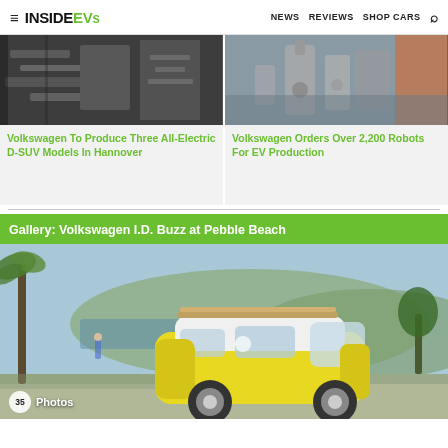InsideEVs — NEWS  REVIEWS  SHOP CARS
[Figure (photo): Thumbnail photo of industrial machinery/engine components — Volkswagen To Produce Three All-Electric D-SUV Models In Hannover]
Volkswagen To Produce Three All-Electric D-SUV Models In Hannover
[Figure (photo): Thumbnail photo of industrial robots in a factory — Volkswagen Orders Over 2,200 Robots For EV Production]
Volkswagen Orders Over 2,200 Robots For EV Production
Gallery: Volkswagen I.D. Buzz at Pebble Beach
[Figure (photo): Volkswagen I.D. Buzz concept van (yellow and white) driving along coastal road at Pebble Beach, with palm trees and ocean in background. Badge showing '35 Photos'.]